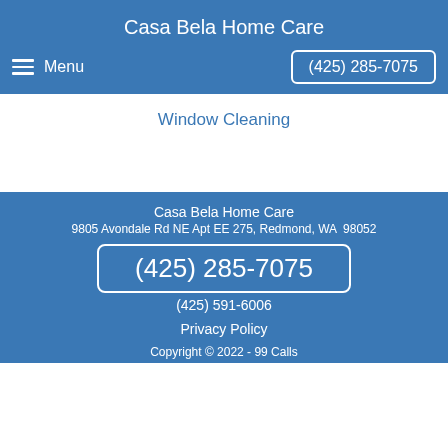Casa Bela Home Care
Menu
(425) 285-7075
Window Cleaning
Casa Bela Home Care
9805 Avondale Rd NE Apt EE 275, Redmond, WA  98052
(425) 285-7075
(425) 591-6006
Privacy Policy
Copyright © 2022 - 99 Calls